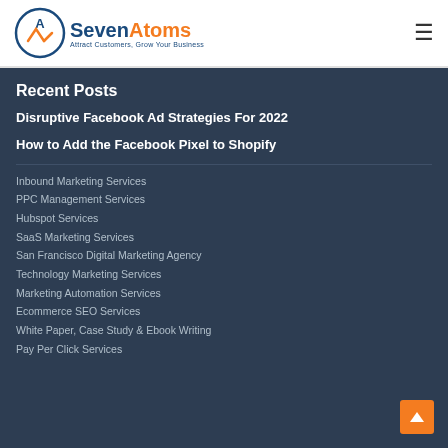SevenAtoms — Attract Customers, Grow Your Business
Recent Posts
Disruptive Facebook Ad Strategies For 2022
How to Add the Facebook Pixel to Shopify
Inbound Marketing Services
PPC Management Services
Hubspot Services
SaaS Marketing Services
San Francisco Digital Marketing Agency
Technology Marketing Services
Marketing Automation Services
Ecommerce SEO Services
White Paper, Case Study & Ebook Writing
Pay Per Click Services